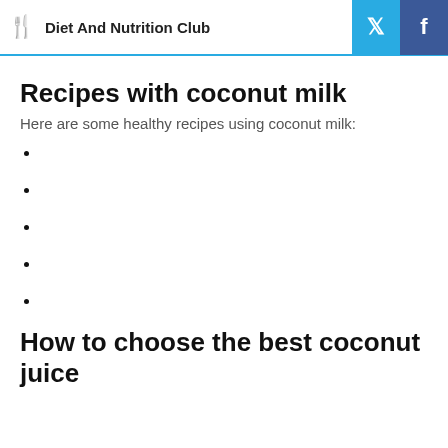Diet And Nutrition Club
Recipes with coconut milk
Here are some healthy recipes using coconut milk:
How to choose the best coconut juice